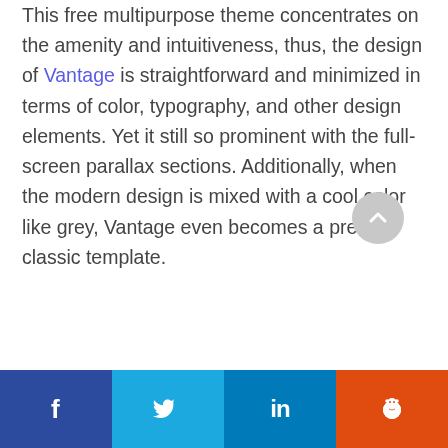This free multipurpose theme concentrates on the amenity and intuitiveness, thus, the design of Vantage is straightforward and minimized in terms of color, typography, and other design elements. Yet it still so prominent with the full-screen parallax sections. Additionally, when the modern design is mixed with a cool color like grey, Vantage even becomes a pretty classic template.
[Figure (other): Comment text area box (empty, bordered rectangle)]
[Figure (other): Scroll-to-top circular button with upward chevron arrow, grey background]
[Figure (other): Social sharing bar with four buttons: Facebook (f), Twitter (bird), LinkedIn (in), Reddit (alien) in blue, cyan, blue, and orange respectively]